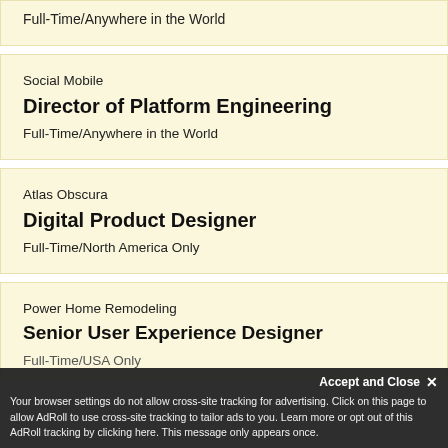Full-Time/Anywhere in the World
Social Mobile
Director of Platform Engineering
Full-Time/Anywhere in the World
Atlas Obscura
Digital Product Designer
Full-Time/North America Only
Power Home Remodeling
Senior User Experience Designer
Full-Time/USA Only
Accept and Close ✕
Your browser settings do not allow cross-site tracking for advertising. Click on this page to allow AdRoll to use cross-site tracking to tailor ads to you. Learn more or opt out of this AdRoll tracking by clicking here. This message only appears once.